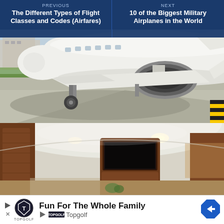PREVIOUS — The Different Types of Flight Classes and Codes (Airfares) | NEXT — 10 of the Biggest Military Airplanes in the World
[Figure (photo): Exterior photo of a white commercial/private jet airplane on an airport tarmac, showing the fuselage, engine, and landing gear from a low angle. Green grass and airport buildings visible in background.]
[Figure (photo): Interior photo of a private jet cabin showing wood-paneled walls, curved white ceiling with recessed lighting, and luxury furnishings.]
Fun For The Whole Family — Topgolf (advertisement)